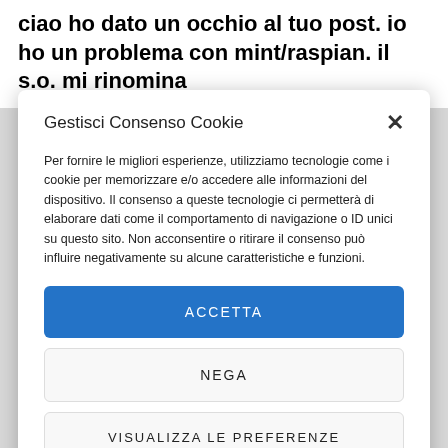ciao ho dato un occhio al tuo post. io ho un problema con mint/raspian. il s.o. mi rinomina
Gestisci Consenso Cookie
Per fornire le migliori esperienze, utilizziamo tecnologie come i cookie per memorizzare e/o accedere alle informazioni del dispositivo. Il consenso a queste tecnologie ci permetterà di elaborare dati come il comportamento di navigazione o ID unici su questo sito. Non acconsentire o ritirare il consenso può influire negativamente su alcune caratteristiche e funzioni.
ACCETTA
NEGA
VISUALIZZA LE PREFERENZE
Cookie e Privacy